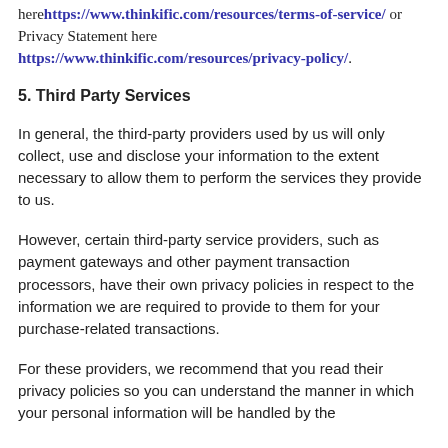here https://www.thinkific.com/resources/terms-of-service/ or Privacy Statement here https://www.thinkific.com/resources/privacy-policy/.
5. Third Party Services
In general, the third-party providers used by us will only collect, use and disclose your information to the extent necessary to allow them to perform the services they provide to us.
However, certain third-party service providers, such as payment gateways and other payment transaction processors, have their own privacy policies in respect to the information we are required to provide to them for your purchase-related transactions.
For these providers, we recommend that you read their privacy policies so you can understand the manner in which your personal information will be handled by these providers.